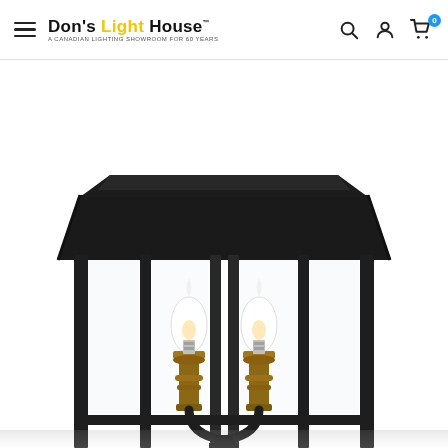Don's Light House - A Canadian Lighting Showroom for 60 Years
[Figure (photo): Close-up photograph of a black lantern-style outdoor light fixture with two candelabra bulbs on brass/bronze sockets, black metal frame with glass panels, and a flat-topped black roof, shown against a white background. From Don's Light House product listing.]